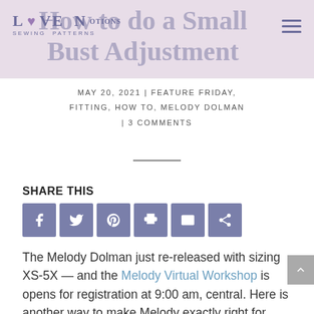Love Notions Sewing Patterns — How to do a Small Bust Adjustment
MAY 20, 2021 | FEATURE FRIDAY, FITTING, HOW TO, MELODY DOLMAN | 3 COMMENTS
SHARE THIS
[Figure (infographic): Social share buttons: Facebook, Twitter, Pinterest, Print, Email, Share]
The Melody Dolman just re-released with sizing XS-5X — and the Melody Virtual Workshop is opens for registration at 9:00 am, central. Here is another way to make Melody exactly right for you (as well as any